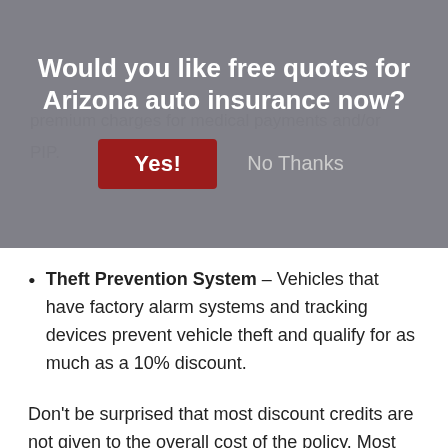Would you like free quotes for Arizona auto insurance now?
premium charges for medical payments and/or PIP.
Yes!
No Thanks
Theft Prevention System – Vehicles that have factory alarm systems and tracking devices prevent vehicle theft and qualify for as much as a 10% discount.
Don't be surprised that most discount credits are not given to the overall cost of the policy. Most only apply to the cost of specific coverages such as physical damage coverage or medical payments. So despite the fact that it appears adding up those discounts means a free policy, you won't be that lucky.